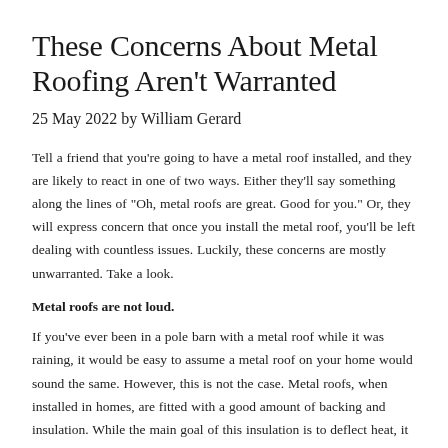These Concerns About Metal Roofing Aren't Warranted
25 May 2022 by William Gerard
Tell a friend that you're going to have a metal roof installed, and they are likely to react in one of two ways. Either they'll say something along the lines of "Oh, metal roofs are great. Good for you." Or, they will express concern that once you install the metal roof, you'll be left dealing with countless issues. Luckily, these concerns are mostly unwarranted. Take a look.
Metal roofs are not loud.
If you've ever been in a pole barn with a metal roof while it was raining, it would be easy to assume a metal roof on your home would sound the same. However, this is not the case. Metal roofs, when installed in homes, are fitted with a good amount of backing and insulation. While the main goal of this insulation is to deflect heat, it also has the welcome side effect of absorbing sound. When the rain hits a residential metal roof, you may hear it — but no more than you would